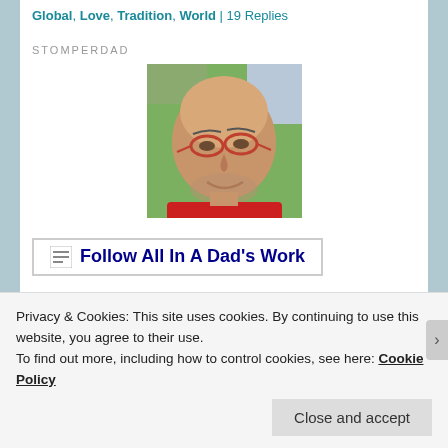Global, Love, Tradition, World | 19 Replies
STOMPERDAD
[Figure (photo): Profile photo of a bald man with glasses and a beard, wearing a red shirt, smiling outdoors with green grass in the background.]
Follow All In A Dad's Work
Privacy & Cookies: This site uses cookies. By continuing to use this website, you agree to their use.
To find out more, including how to control cookies, see here: Cookie Policy
Close and accept